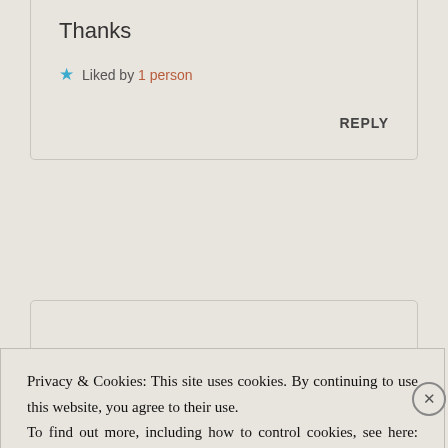Thanks
★ Liked by 1 person
REPLY
Privacy & Cookies: This site uses cookies. By continuing to use this website, you agree to their use. To find out more, including how to control cookies, see here: Cookie Policy
Close and accept